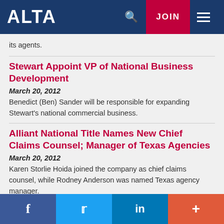ALTA | JOIN
its agents.
Stewart Appoint VP of National Business Development
March 20, 2012
Benedict (Ben) Sander will be responsible for expanding Stewart's national commercial business.
Alliant National Title Names New Chief Claims Counsel; Manager of Texas Agencies
March 20, 2012
Karen Storlie Hoida joined the company as chief claims counsel, while Rodney Anderson was named Texas agency manager.
ALTA Applauds FHFA Final Rule Limiting
f  in  +